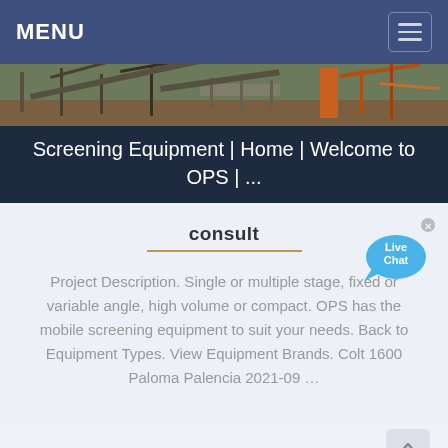MENU
[Figure (photo): Industrial screening equipment site photo with orange and metal structures]
Screening Equipment | Home | Welcome to OPS | ...
consult
Project Description. Single or multiple stage, fixed or variable angle, high volume or compact. OPS has the mobile screening equipment to suit your needs. Back to Equipment Types. View Equipment Brands. Colt 1600 Paloma Palencia 2021-09 ...